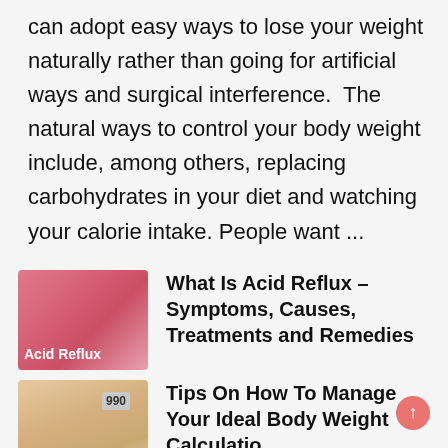can adopt easy ways to lose your weight naturally rather than going for artificial ways and surgical interference. The natural ways to control your body weight include, among others, replacing carbohydrates in your diet and watching your calorie intake. People want ...
[Figure (photo): Pink/red thumbnail image with 'Acid Reflux' label text in white, showing a person's torso in pink]
What Is Acid Reflux – Symptoms, Causes, Treatments and Remedies
[Figure (photo): Beige/skin-tone thumbnail showing feet on a scale with display reading '990', with 'Much Should I We' label text in white]
Tips On How To Manage Your Ideal Body Weight Calculatio...